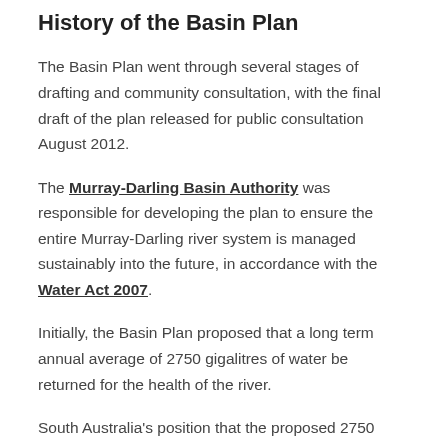History of the Basin Plan
The Basin Plan went through several stages of drafting and community consultation, with the final draft of the plan released for public consultation August 2012.
The Murray-Darling Basin Authority was responsible for developing the plan to ensure the entire Murray-Darling river system is managed sustainably into the future, in accordance with the Water Act 2007.
Initially, the Basin Plan proposed that a long term annual average of 2750 gigalitres of water be returned for the health of the river.
South Australia's position that the proposed 2750 gigalitres was not enough water to secure the long-term